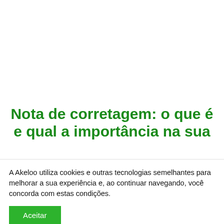Nota de corretagem: o que é e qual a importância na sua
A Akeloo utiliza cookies e outras tecnologias semelhantes para melhorar a sua experiência e, ao continuar navegando, você concorda com estas condições.
Aceitar